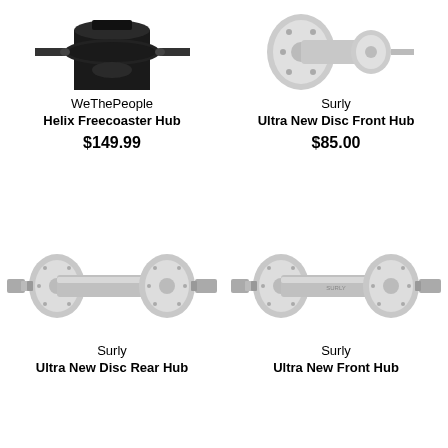[Figure (photo): WeThePeople Helix Freecoaster Hub - black hub component, top partially cropped]
WeThePeople
Helix Freecoaster Hub
$149.99
[Figure (photo): Surly Ultra New Disc Front Hub - silver hub component, top partially cropped]
Surly
Ultra New Disc Front Hub
$85.00
[Figure (photo): Surly Ultra New Disc Rear Hub - silver bicycle hub component]
Surly
Ultra New Disc Rear Hub (partial)
[Figure (photo): Surly Ultra New Front Hub - silver bicycle hub component]
Surly
Ultra New Front Hub (partial)